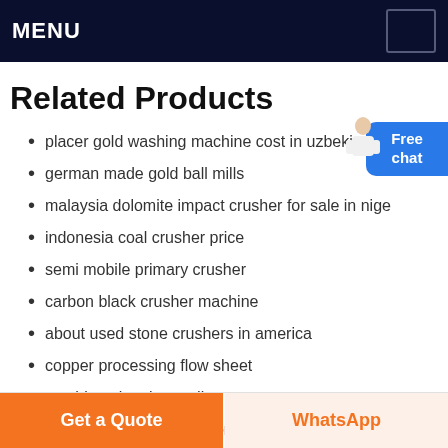MENU
Related Products
placer gold washing machine cost in uzbekistan
german made gold ball mills
malaysia dolomite impact crusher for sale in nige
indonesia coal crusher price
semi mobile primary crusher
carbon black crusher machine
about used stone crushers in america
copper processing flow sheet
crushing plant in saudi
use of crusher sand in concrete
Get a Quote
WhatsApp